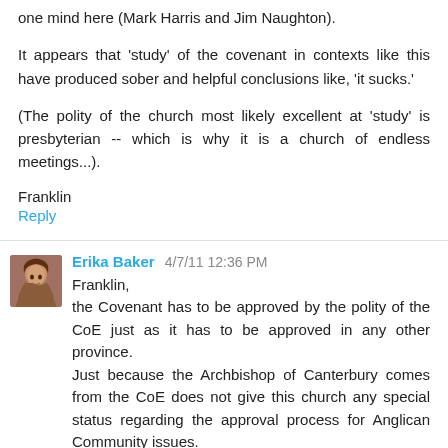one mind here (Mark Harris and Jim Naughton).
It appears that 'study' of the covenant in contexts like this have produced sober and helpful conclusions like, 'it sucks.'
(The polity of the church most likely excellent at 'study' is presbyterian -- which is why it is a church of endless meetings...).
Franklin
Reply
Erika Baker 4/7/11 12:36 PM
Franklin,
the Covenant has to be approved by the polity of the CoE just as it has to be approved in any other province.
Just because the Archbishop of Canterbury comes from the CoE does not give this church any special status regarding the approval process for Anglican Community issues.